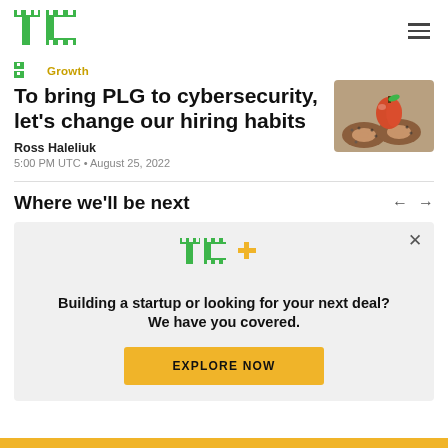TechCrunch
Growth
To bring PLG to cybersecurity, let's change our hiring habits
Ross Haleliuk
5:00 PM UTC • August 25, 2022
[Figure (photo): Photo of donuts with an apple on top]
Where we'll be next
[Figure (logo): TC+ logo in green and yellow]
Building a startup or looking for your next deal? We have you covered.
EXPLORE NOW